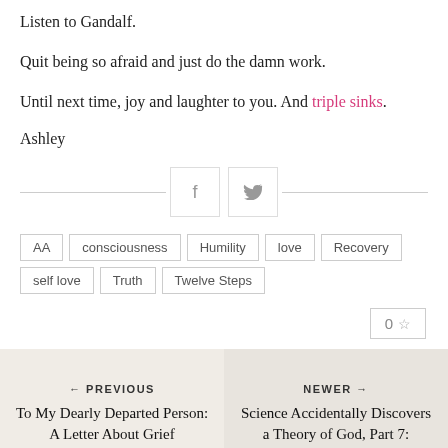Listen to Gandalf.
Quit being so afraid and just do the damn work.
Until next time, joy and laughter to you. And triple sinks.
Ashley
[Figure (other): Social share buttons: Facebook (f) and Twitter (bird icon) between two horizontal lines]
AA
consciousness
Humility
love
Recovery
self love
Truth
Twelve Steps
0 ☆
← PREVIOUS
To My Dearly Departed Person: A Letter About Grief
NEWER →
Science Accidentally Discovers a Theory of God, Part 7: